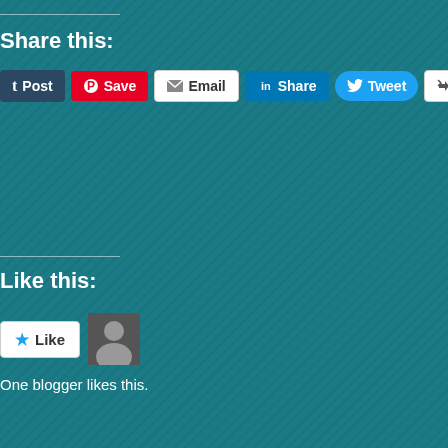[Figure (screenshot): Red advertisement box with italic text 'everyone else's.' and a black 'Start reading' button on dark red background]
REPORT T
Share this:
[Figure (screenshot): Social sharing buttons row: Post (Tumblr), Save (Pinterest), Email, Share (LinkedIn), Tweet (Twitter), More]
Like this:
[Figure (screenshot): Like button with star icon and blogger avatar thumbnail]
One blogger likes this.
Tags: 20th Century Fox, Alexa Davalos, Alisa Jones, Alte...
Advertisements
[Figure (screenshot): DuckDuckGo advertisement banner: 'Search, browse, and email with more privacy. All in One Free App' with DuckDuckGo duck logo on dark background]